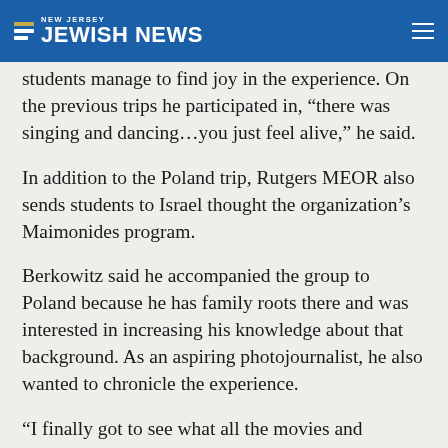NEW JERSEY JEWISH NEWS
students manage to find joy in the experience. On the previous trips he participated in, “there was singing and dancing…you just feel alive,” he said.
In addition to the Poland trip, Rutgers MEOR also sends students to Israel thought the organization’s Maimonides program.
Berkowitz said he accompanied the group to Poland because he has family roots there and was interested in increasing his knowledge about that background. As an aspiring photojournalist, he also wanted to chronicle the experience.
“I finally got to see what all the movies and to the class are talking about,” said Berkowitz…